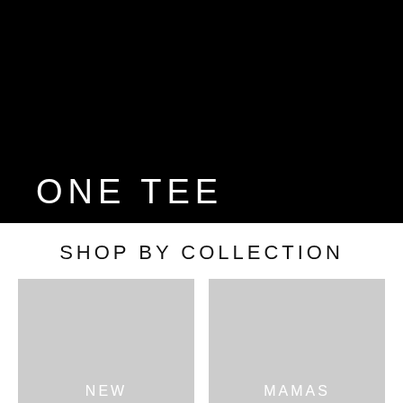[Figure (photo): Black hero banner background with partial white text reading ONE TEE partially cut off at bottom]
SHOP BY COLLECTION
[Figure (photo): Light gray placeholder tile with white text label NEW]
[Figure (photo): Light gray placeholder tile with white text label MAMAS]